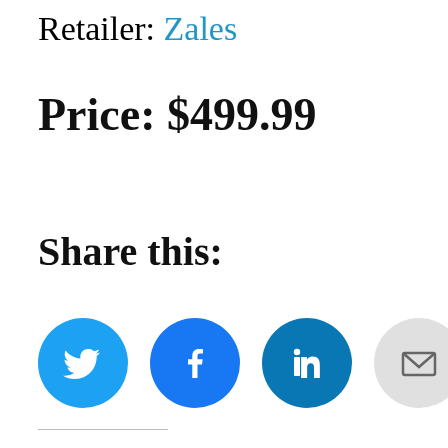Retailer: Zales
Price: $499.99
Share this:
[Figure (infographic): Four social sharing icon buttons in circles: Twitter (light blue), Facebook (blue), LinkedIn (dark blue), Email (gray)]